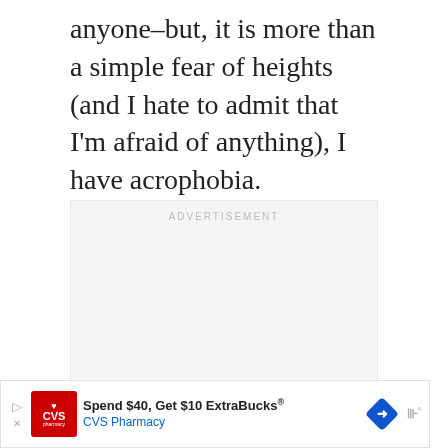anyone–but, it is more than a simple fear of heights (and I hate to admit that I'm afraid of anything), I have acrophobia.
[Figure (other): Advertisement placeholder box with 'ADVERTISEMENT' label at top and three small gray dots near the bottom center]
[Figure (other): CVS Pharmacy advertisement banner: 'Spend $40, Get $10 ExtraBucks® CVS Pharmacy' with CVS logo, blue arrow navigation, diamond/direction icon, and mute icon]